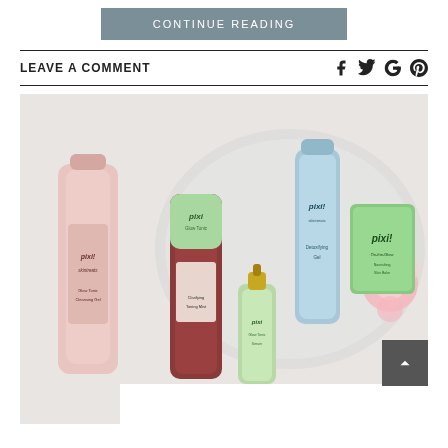CONTINUE READING
LEAVE A COMMENT
[Figure (photo): Pixi skincare products arranged on a decorative plate: Glow Tonic Cleansing Gel (pink tube), Pixi Glow Tonic (dark red bottle with green label), Glow Tonic Serum (small green/gold dropper bottle), a blue-grey tube (Detoxifying Gel), and On-the-Glow green compact, with a pink flower to the right. Watermark reads @makeup...id in bottom right.]